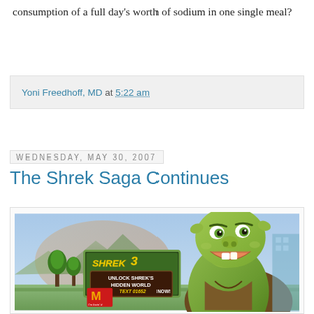consumption of a full day's worth of sodium in one single meal?
Yoni Freedhoff, MD at 5:22 am
Wednesday, May 30, 2007
The Shrek Saga Continues
[Figure (photo): McDonald's billboard advertisement featuring Shrek 3 character. The billboard shows an animated Shrek smiling, with text reading 'UNLOCK SHREK'S HIDDEN WORLD TEXT 01652 NOW!' and the McDonald's golden arches logo with 'I'm lovin' it' tagline.]